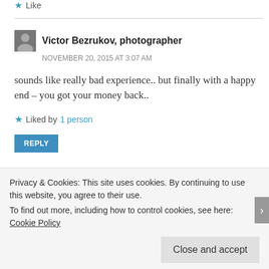★ Like
Victor Bezrukov, photographer
NOVEMBER 20, 2015 AT 3:07 AM
sounds like really bad experience.. but finally with a happy end – you got your money back..
★ Liked by 1 person
REPLY
Privacy & Cookies: This site uses cookies. By continuing to use this website, you agree to their use.
To find out more, including how to control cookies, see here: Cookie Policy
Close and accept